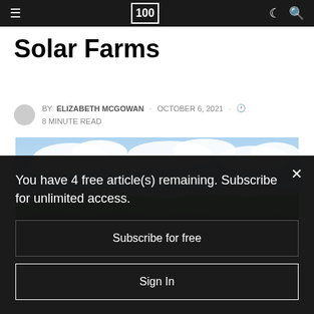≡  100  ☾ 🔍
Solar Farms
BY ELIZABETH MCGOWAN · OCTOBER 6, 2021 · 🕐 8 MINUTE READ
[Figure (photo): Aerial landscape photo showing green rolling hills and mountains under a partly cloudy blue sky]
You have 4 free article(s) remaining. Subscribe for unlimited access.
Subscribe for free
Sign In